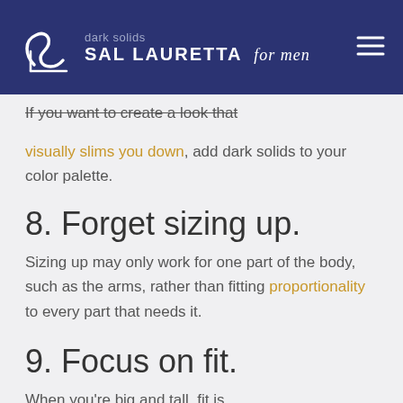dark solids — SAL LAURETTA for men
If you want to create a look that visually slims you down, add dark solids to your color palette.
8. Forget sizing up.
Sizing up may only work for one part of the body, such as the arms, rather than fitting proportionality to every part that needs it.
9. Focus on fit.
When you're big and tall, fit is